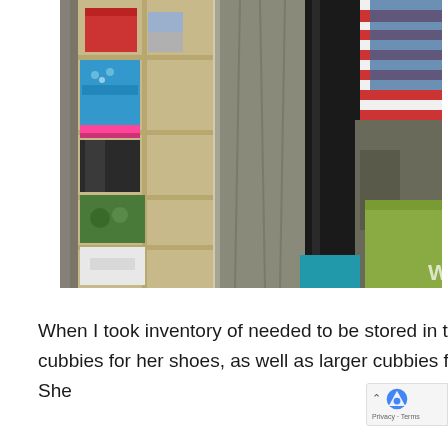[Figure (photo): A cluttered closet with a hanging shoe cubby organizer on the left side containing blue items, pink items, green items, and white items on shelves. To the right are hanging clothes including gray, black, and striped garments. A green storage box is visible on the right side.]
When I took inventory of needed to be stored in this space, I suggested a unit that would allow for shoe cubbies for her shoes, as well as larger cubbies for it like purses, sweaters, scarves, athletic gear etc. She